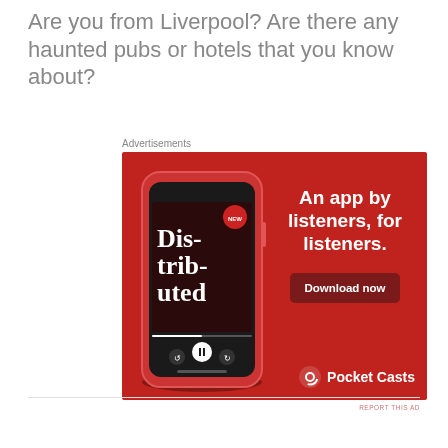Are you from Liverpool? Are there any haunted pubs or hotels that you know about?
Advertisements
[Figure (screenshot): Pocket Casts app advertisement on red background with a phone showing the 'Distributed' podcast episode. Text reads 'An app by listeners, for listeners.' with a 'Download now' button and the Pocket Casts logo at bottom right.]
REPORT THIS AD